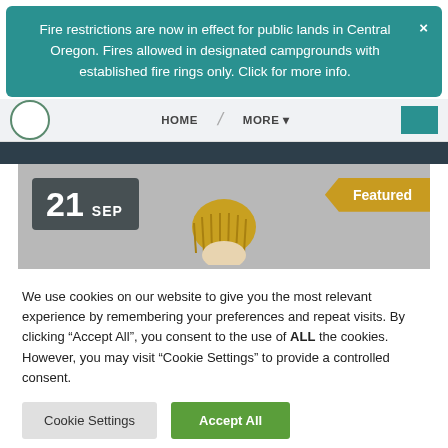Fire restrictions are now in effect for public lands in Central Oregon. Fires allowed in designated campgrounds with established fire rings only. Click for more info.
HOME   MORE
[Figure (screenshot): Event card with date badge showing '21 SEP', a 'Featured' ribbon in gold/yellow on the right, and a partial figure wearing a yellow knit hat in the center]
We use cookies on our website to give you the most relevant experience by remembering your preferences and repeat visits. By clicking “Accept All”, you consent to the use of ALL the cookies. However, you may visit “Cookie Settings” to provide a controlled consent.
Cookie Settings
Accept All